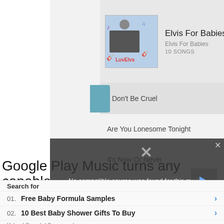[Figure (screenshot): Google Play Music app screenshot showing Elvis For Babies album with song list: Don't Be Cruel, Are You Lonesome Tonight, It's Now Or Never, Love Me Tender. Now playing bar shows Suit & Tie by Justin Timberlake. A video overlay shows 'No compatible source was found for this media.' An ad section shows Yahoo Search sponsored results for Free Baby Formula Samples and 10 Best Baby Shower Gifts To Buy.]
Elvis For Babies
Elvis For Babies
10 SONGS
Don't Be Cruel
Are You Lonesome Tonight
It's Now Or Never
Love Me Tender
Suit & Tie
Justin Timberlake
No compatible source was found for this media.
Google Play Music turns any capable
Search for
01.  Free Baby Formula Samples
02.  10 Best Baby Shower Gifts To Buy
Yahoo! Search | Sponsored